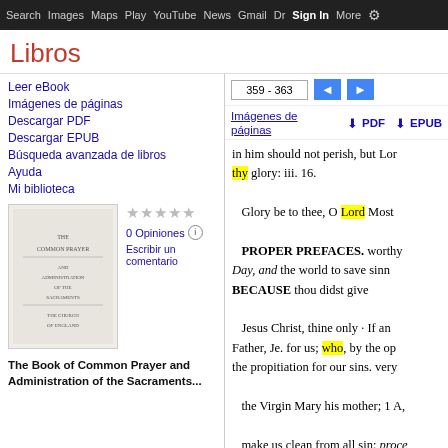Search  Images  Maps  Play  YouTube  News  Gmail  Drive  More  Sign in
Libros
359 - 363
Imágenes de páginas   PDF   EPUB
Leer eBook
Imágenes de páginas
Descargar PDF
Descargar EPUB
Búsqueda avanzada de libros
Ayuda
Mi biblioteca
0 Opiniones
Escribir un comentario
The Book of Common Prayer and Administration of the Sacraments...
in him should not perish, but Lor thy glory: iii. 16.

Glory be to thee, O Lord Most

PROPER PREFACES. worthy Day, and the world to save sinn BECAUSE thou didst give

Jesus Christ, thine only · If an Father, Je. for us; who, by the op the propitiation for our sins. very

the Virgin Mary his mother; 1 A,

make us clean from all sin: proce

Therefore with Angels, &c. Li T Upon Easter Day, and seve